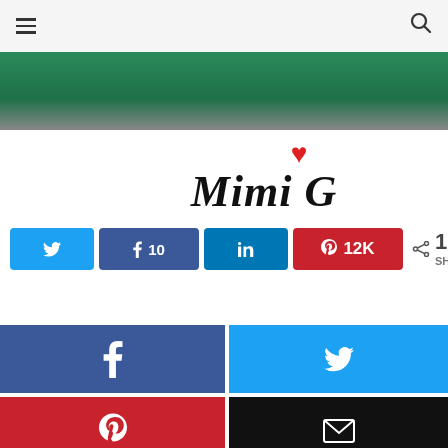Navigation header with hamburger menu and search icon
[Figure (photo): Partial photo showing green fabric/clothing against a blurred background]
[Figure (logo): Mimi G blog logo in cursive italic script with red heart icon]
N 10 in 12K < 12K SHARES
[Figure (infographic): Four large social share buttons: Facebook (blue), Twitter (light blue), Pinterest (red), Email (black)]